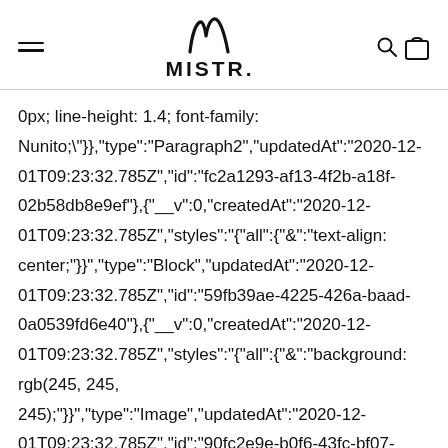MISTR.
0px; line-height: 1.4; font-family: Nunito;"}},{"type":"Paragraph2","updatedAt":"2020-12-01T09:23:32.785Z","id":"fc2a1293-af13-4f2b-a18f-02b58db8e9ef"},{"__v":0,"createdAt":"2020-12-01T09:23:32.785Z","styles":{"all":{"&":"text-align: center;"}},"type":"Block","updatedAt":"2020-12-01T09:23:32.785Z","id":"59fb39ae-4225-426a-baad-0a0539fd6e40"},{"__v":0,"createdAt":"2020-12-01T09:23:32.785Z","styles":{"all":{"&":"background: rgb(245, 245, 245);"}},"type":"Image","updatedAt":"2020-12-01T09:23:32.785Z","id":"90fc2e9e-b0f6-43fc-bf07-5fefac33f0cf"},{"__v":0,"createdAt":"2020-12-